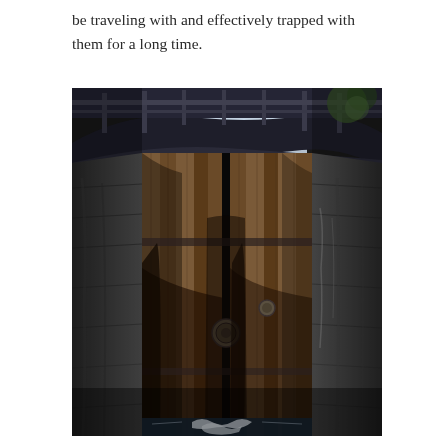be traveling with and effectively trapped with them for a long time.
[Figure (photo): A photograph taken from inside a canal lock chamber looking up at heavy wooden lock gates. The old weathered wooden planks show water staining and age. Above the gates is a metal footbridge or framework with scaffolding-like railing. Stone walls flank both sides of the lock chamber. Water is visible at the very bottom trickling through the base of the gates.]